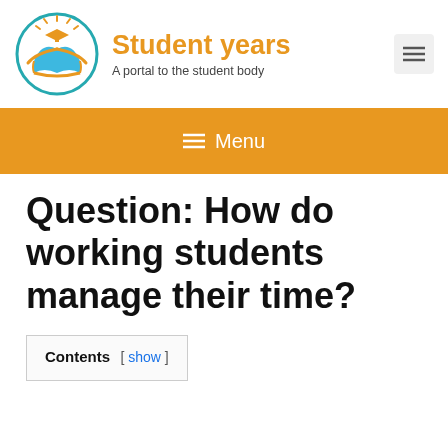[Figure (logo): Student years website logo — open book with a graduation cap and sun rays, teal circle border, blue and orange book pages]
Student years
A portal to the student body
≡ Menu
Question: How do working students manage their time?
Contents [ show ]